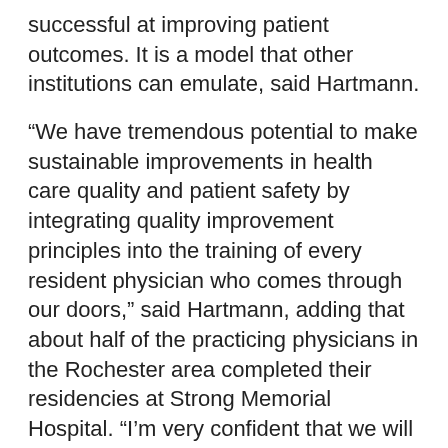successful at improving patient outcomes. It is a model that other institutions can emulate, said Hartmann.
“We have tremendous potential to make sustainable improvements in health care quality and patient safety by integrating quality improvement principles into the training of every resident physician who comes through our doors,” said Hartmann, adding that about half of the practicing physicians in the Rochester area completed their residencies at Strong Memorial Hospital. “I’m very confident that we will see the impact of these improvements on the quality of health care across our community and beyond.”
Specifically, Rochester’s proposal expands on a 2013 effort by the School of Medicine and Dentistry and Strong to establish the Unit-based Performance Program (UPP) on 42 patient care units across the